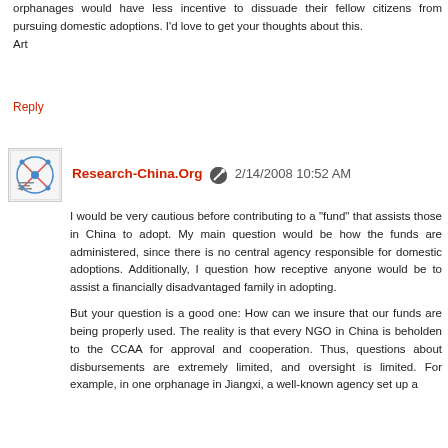orphanages would have less incentive to dissuade their fellow citizens from pursuing domestic adoptions. I'd love to get your thoughts about this.
Art
Reply
[Figure (logo): DNAConnect.Org logo — small square avatar with DNA/globe graphic]
Research-China.Org  2/14/2008 10:52 AM
I would be very cautious before contributing to a "fund" that assists those in China to adopt. My main question would be how the funds are administered, since there is no central agency responsible for domestic adoptions. Additionally, I question how receptive anyone would be to assist a financially disadvantaged family in adopting.
But your question is a good one: How can we insure that our funds are being properly used. The reality is that every NGO in China is beholden to the CCAA for approval and cooperation. Thus, questions about disbursements are extremely limited, and oversight is limited. For example, in one orphanage in Jiangxi, a well-known agency set up a